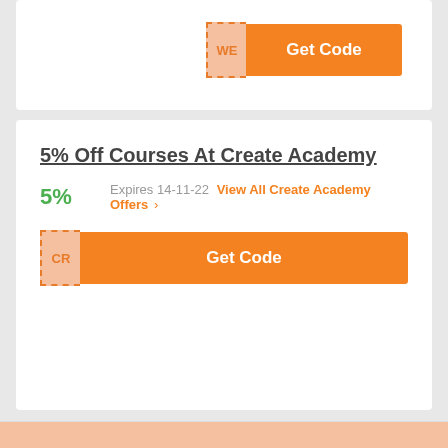[Figure (screenshot): Get Code button with WE code label, orange button, dashed border]
5% Off Courses At Create Academy
5%   Expires 14-11-22  View All Create Academy Offers >
[Figure (screenshot): Get Code button with CR code label, orange button, dashed border]
Rate for Alibris UK
4.0 / 622 Votes